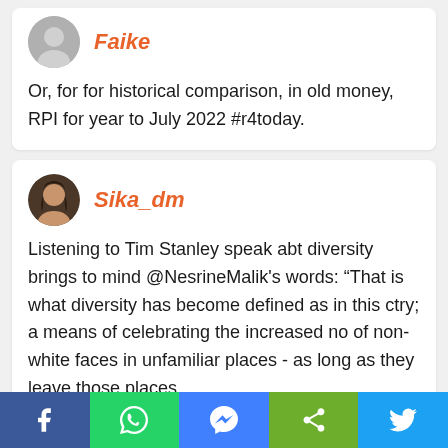Faike
Or, for for historical comparison, in old money, RPI for year to July 2022 #r4today.
Sika_dm
Listening to Tim Stanley speak abt diversity brings to mind @NesrineMalik's words: “That is what diversity has become defined as in this ctry; a means of celebrating the increased no of non-white faces in unfamiliar places - as long as they leave those places
Facebook | WhatsApp | Messenger | Share | Twitter